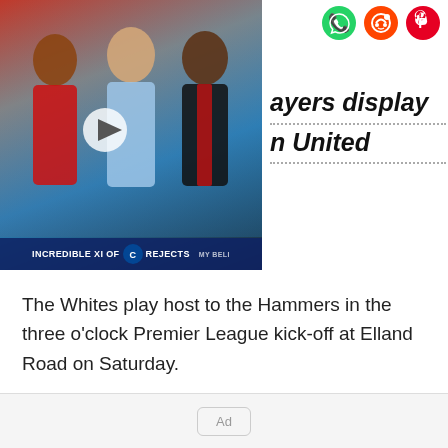[Figure (screenshot): Video thumbnail showing Chelsea Rejects XI with football players and a play button overlay. Bar at bottom reads 'INCREDIBLE XI OF [Chelsea badge] REJECTS']
ayers display n United
The Whites play host to the Hammers in the three o'clock Premier League kick-off at Elland Road on Saturday.
[Figure (other): Advertisement placeholder box with 'Ad' label]